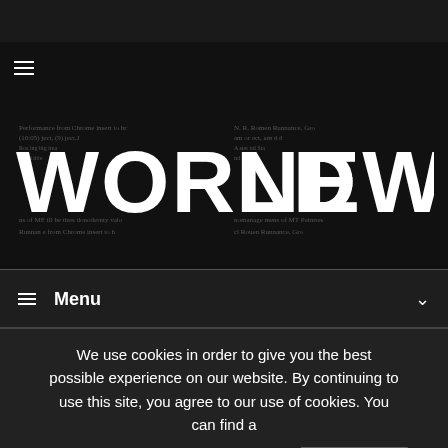[Figure (logo): WORLD NEWS logo with collaged newspaper text background on black banner]
Menu
We use cookies in order to give you the best possible experience on our website. By continuing to use this site, you agree to our use of cookies. You can find a detailed description in our Privacy Policy.
Accept
Reject
Read More...